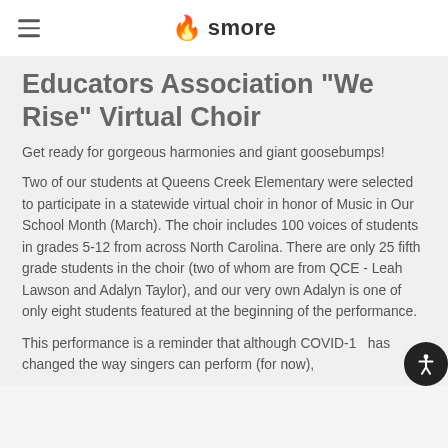smore
Educators Association "We Rise" Virtual Choir
Get ready for gorgeous harmonies and giant goosebumps!
Two of our students at Queens Creek Elementary were selected to participate in a statewide virtual choir in honor of Music in Our School Month (March). The choir includes 100 voices of students in grades 5-12 from across North Carolina. There are only 25 fifth grade students in the choir (two of whom are from QCE - Leah Lawson and Adalyn Taylor), and our very own Adalyn is one of only eight students featured at the beginning of the performance.
This performance is a reminder that although COVID-19 has changed the way singers can perform (for now),